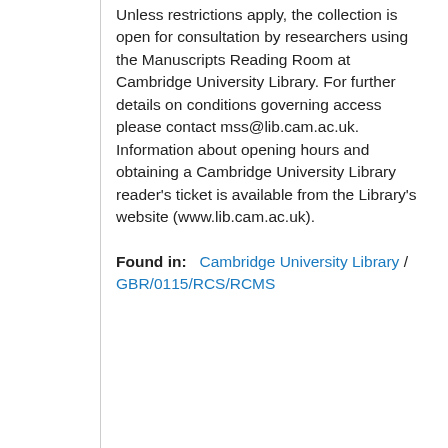Unless restrictions apply, the collection is open for consultation by researchers using the Manuscripts Reading Room at Cambridge University Library. For further details on conditions governing access please contact mss@lib.cam.ac.uk. Information about opening hours and obtaining a Cambridge University Library reader's ticket is available from the Library's website (www.lib.cam.ac.uk).
Found in:   Cambridge University Library / GBR/0115/RCS/RCMS